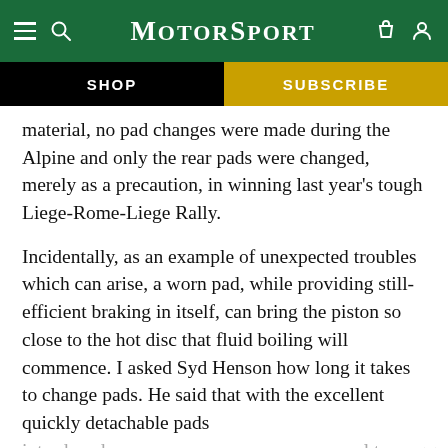MotorSport
SHOP
SUBSCRIBE
material, no pad changes were made during the Alpine and only the rear pads were changed, merely as a precaution, in winning last year's tough Liege-Rome-Liege Rally.
Incidentally, as an example of unexpected troubles which can arise, a worn pad, while providing still-efficient braking in itself, can bring the piston so close to the hot disc that fluid boiling will commence. I asked Syd Henson how long it takes to change pads. He said that with the excellent quickly detachable pads intro... ol to
[Figure (screenshot): Advertisement banner: car image with 'SAVE £2 ON YOUR TICKET USING CODE MOTORSPORTWEB' on blue background]